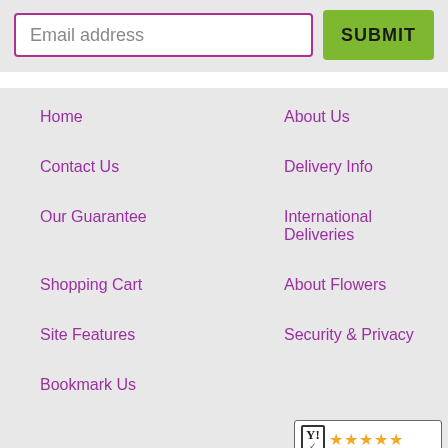Email address
SUBMIT
Home
About Us
Contact Us
Delivery Info
Our Guarantee
International Deliveries
Shopping Cart
About Flowers
Site Features
Security & Privacy
Bookmark Us
[Figure (logo): Harry's Flowers 5-star rating badge with Y! logo and orange stars]